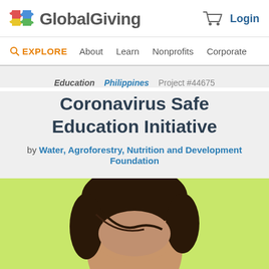[Figure (logo): GlobalGiving logo with colorful puzzle piece icon and bold gray text]
Login
EXPLORE  About  Learn  Nonprofits  Corporate
Education  Philippines  Project #44675
Coronavirus Safe Education Initiative
by Water, Agroforestry, Nutrition and Development Foundation
[Figure (photo): Close-up photo of a person's face against a yellow-green background, showing forehead and hair]